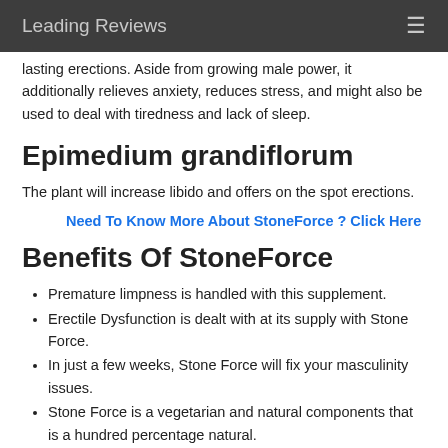Leading Reviews
lasting erections. Aside from growing male power, it additionally relieves anxiety, reduces stress, and might also be used to deal with tiredness and lack of sleep.
Epimedium grandiflorum
The plant will increase libido and offers on the spot erections.
Need To Know More About StoneForce ? Click Here
Benefits Of StoneForce
Premature limpness is handled with this supplement.
Erectile Dysfunction is dealt with at its supply with Stone Force.
In just a few weeks, Stone Force will fix your masculinity issues.
Stone Force is a vegetarian and natural components that is a hundred percentage natural.
There are no poor repercussions from the use of Stone